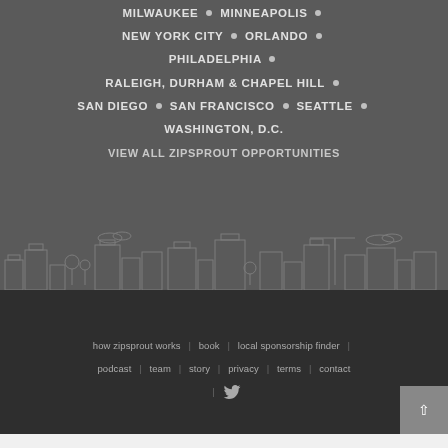MILWAUKEE • MINNEAPOLIS •
NEW YORK CITY • ORLANDO •
PHILADELPHIA •
RALEIGH, DURHAM & CHAPEL HILL •
SAN DIEGO • SAN FRANCISCO • SEATTLE •
WASHINGTON, D.C.
VIEW ALL ZIPSPROUT OPPORTUNITIES
how zipsprout works | book | local sponsorship finder | podcast | team | story | privacy | terms | contact